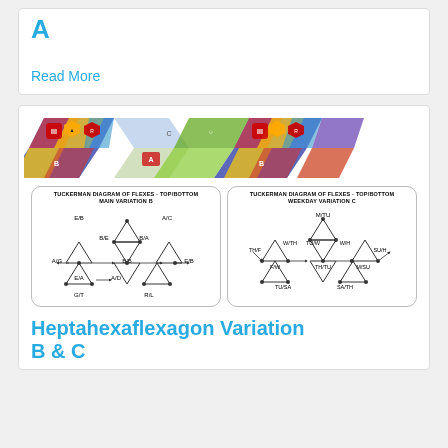A
Read More
[Figure (illustration): Colorful heptahexaflexagon strip unfolded showing decorated triangular/rhombus segments in two rows, with Tuckerman diagrams below showing flex graphs for Main Variation B and Weekday Variation C]
Heptahexaflexagon Variation B & C